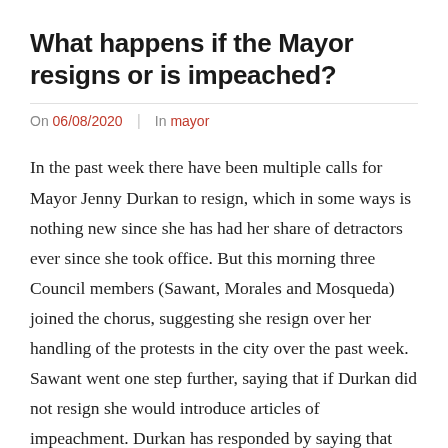What happens if the Mayor resigns or is impeached?
On 06/08/2020  |  In mayor
In the past week there have been multiple calls for Mayor Jenny Durkan to resign, which in some ways is nothing new since she has had her share of detractors ever since she took office. But this morning three Council members (Sawant, Morales and Mosqueda) joined the chorus, suggesting she resign over her handling of the protests in the city over the past week. Sawant went one step further, saying that if Durkan did not resign she would introduce articles of impeachment. Durkan has responded by saying that she has no intention of resigning and that she refuses